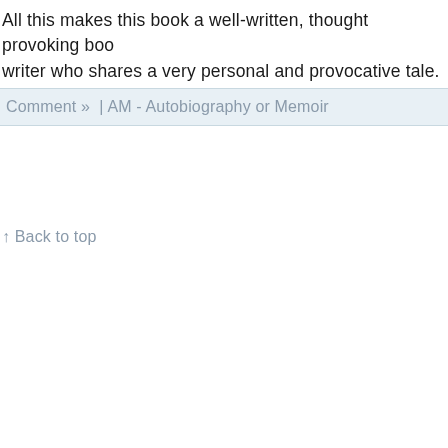All this makes this book a well-written, thought provoking book writer who shares a very personal and provocative tale.
Comment » | AM - Autobiography or Memoir
↑ Back to top